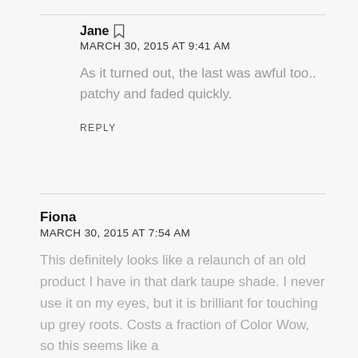Jane
MARCH 30, 2015 AT 9:41 AM
As it turned out, the last was awful too.. patchy and faded quickly.
REPLY
Fiona
MARCH 30, 2015 AT 7:54 AM
This definitely looks like a relaunch of an old product I have in that dark taupe shade. I never use it on my eyes, but it is brilliant for touching up grey roots. Costs a fraction of Color Wow, so this seems like a